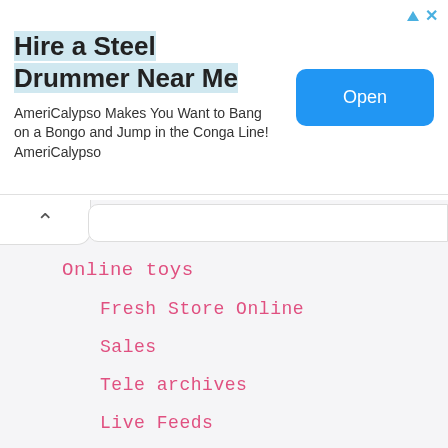[Figure (infographic): Advertisement banner: 'Hire a Steel Drummer Near Me' with subtitle 'AmeriCalypso Makes You Want to Bang on a Bongo and Jump in the Conga Line! AmeriCalypso' and an Open button]
Online toys
Fresh Store Online
Sales
Tele archives
Live Feeds
news list
net archives
uk news archyves
archy news
Sport News
Rusia News
world news